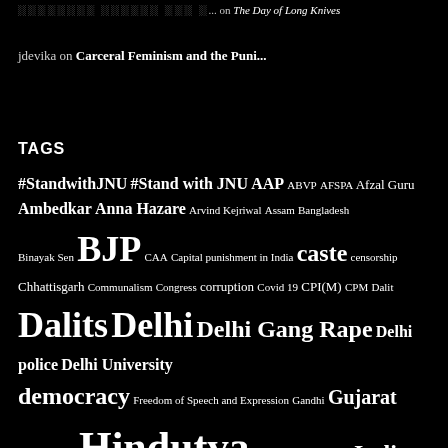░░░░░░░░ ░░░░░░ ░░░ ░... on The Day of Long Knives
jdevika on Carceral Feminism and the Puni...
TAGS
#StandwithJNU #Stand with JNU AAP ABVP AFSPA Afzal Guru Ambedkar Anna Hazare Arvind Kejriwal Assam Bangladesh Binayak Sen BJP CAA Capital punishment in India caste censorship Chhattisgarh Communalism Congress corruption Covid 19 CPI(M) CPM Dalit Dalits Delhi Delhi Gang Rape Delhi police Delhi University democracy Freedom of Speech and Expression Gandhi Gujarat Gujarat 2002 Hindutva human rights India India-Pakistan Indian Muslims Internet Censorship in India Israel JNU jnusu Kanhaiya Kumar Kashmir Kashmir human rights Kerals...